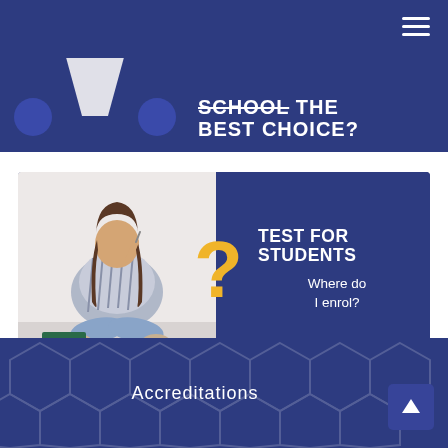SCHOOL THE BEST CHOICE?
[Figure (infographic): TEST FOR STUDENTS - Where do I enrol? Promotional banner with a student sitting cross-legged holding a book and pen, with a large yellow question mark, on a dark blue background.]
Accreditations